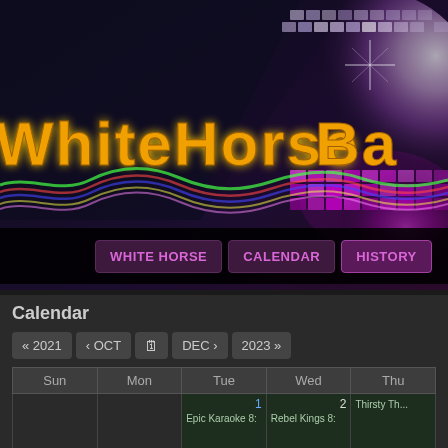[Figure (photo): WhiteHorse Bar banner with disco ball and neon lights. Large stylized text 'WhiteHorse Bar' in orange/yellow LED-style lettering on dark background with purple/magenta disco ball graphic, colorful wavy lines underneath.]
WhiteHorse Bar
WHITE HORSE | CALENDAR | HISTORY
Calendar
| Sun | Mon | Tue | Wed | Thu |
| --- | --- | --- | --- | --- |
|  |  | 1
Epic Karaoke 8: | 2
Rebel Kings 8: | Thirsty Th... |